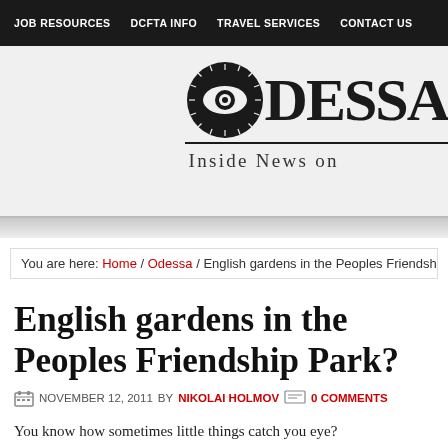JOB RESOURCES | DCFTA INFO | TRAVEL SERVICES | CONTACT US
[Figure (logo): Odessa website logo with eye icon and tagline 'Inside News on']
You are here: Home / Odessa / English gardens in the Peoples Friendship Pa...
English gardens in the Peoples Friendship Park?
NOVEMBER 12, 2011 BY NIKOLAI HOLMOV  0 COMMENTS
You know how sometimes little things catch you eye?
Whilst speed reading my way through the daily mountain of emails a bottom of an obscure paragraph relating to some form of musical an